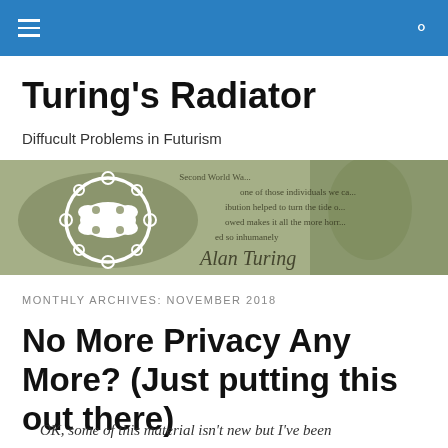Turing's Radiator
Turing's Radiator
Diffucult Problems in Futurism
[Figure (photo): Banner image featuring Alan Turing's portrait on a green-toned background with text fragments about the Second World War and a signature reading 'Alan Turing', alongside a white mechanical/circuit-like symbol on the left.]
MONTHLY ARCHIVES: NOVEMBER 2018
No More Privacy Any More? (Just putting this out there)
OK, some of this material isn't new but I've been